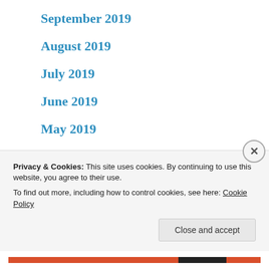September 2019
August 2019
July 2019
June 2019
May 2019
April 2019
March 2019
February 2019
January 2019
Privacy & Cookies: This site uses cookies. By continuing to use this website, you agree to their use. To find out more, including how to control cookies, see here: Cookie Policy
Close and accept